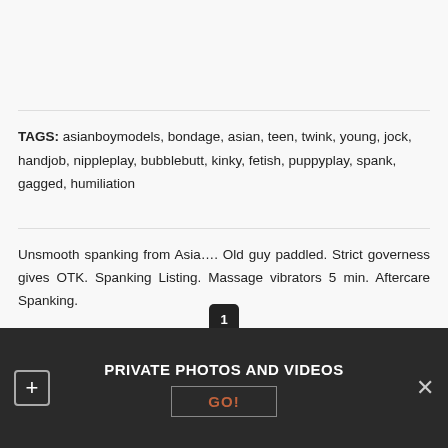TAGS: asianboymodels, bondage, asian, teen, twink, young, jock, handjob, nippleplay, bubblebutt, kinky, fetish, puppyplay, spank, gagged, humiliation
Unsmooth spanking from Asia…. Old guy paddled. Strict governess gives OTK. Spanking Listing. Massage vibrators 5 min. Aftercare Spanking.
1 2 3
PRIVATE PHOTOS AND VIDEOS
GO!